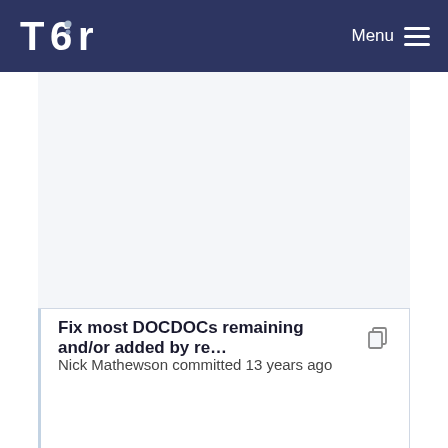Tor Menu
[Figure (other): Blank upper content area with light gray background]
Fix most DOCDOCs remaining and/or added by re…
Nick Mathewson committed 13 years ago